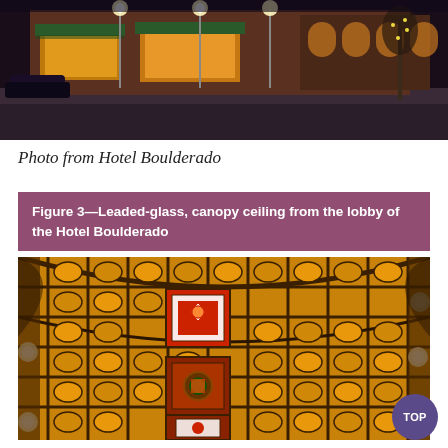[Figure (photo): Night photo of Hotel Boulderado exterior street view with illuminated storefronts, green awnings, arched windows, and street lights]
Photo from Hotel Boulderado
Figure 3—Leaded-glass, canopy ceiling from the lobby of the Hotel Boulderado
[Figure (photo): Interior photo of the leaded-glass canopy ceiling from the lobby of Hotel Boulderado, showing ornate stained glass panels in amber, yellow, red and green colors arranged in a curved barrel vault pattern with geometric and floral motifs]